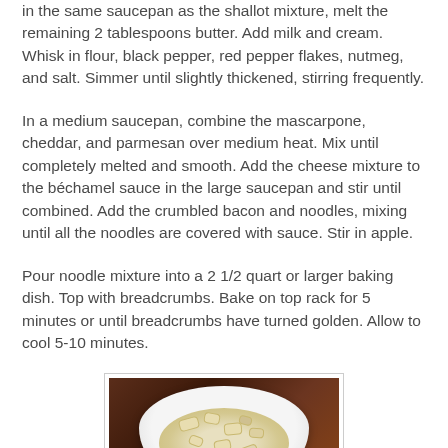in the same saucepan as the shallot mixture, melt the remaining 2 tablespoons butter. Add milk and cream. Whisk in flour, black pepper, red pepper flakes, nutmeg, and salt. Simmer until slightly thickened, stirring frequently.
In a medium saucepan, combine the mascarpone, cheddar, and parmesan over medium heat. Mix until completely melted and smooth. Add the cheese mixture to the béchamel sauce in the large saucepan and stir until combined. Add the crumbled bacon and noodles, mixing until all the noodles are covered with sauce. Stir in apple.
Pour noodle mixture into a 2 1/2 quart or larger baking dish. Top with breadcrumbs. Bake on top rack for 5 minutes or until breadcrumbs have turned golden. Allow to cool 5-10 minutes.
[Figure (photo): A white bowl filled with macaroni and cheese on a dark brown wooden surface, with a photostockr watermark.]